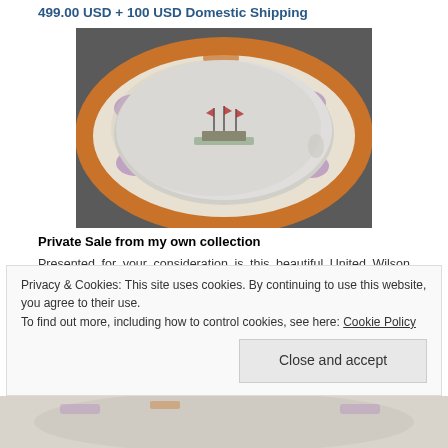499.00 USD + 100 USD Domestic Shipping
[Figure (photo): Close-up photo of a decorative porcelain bowl/planter with colorful floral border pattern and a painted sailing ship scene in the center interior]
Private Sale from my own collection
Presented for your consideration is this beautiful United Wilson (JUWC 1897) over-sized porcelain planter on a wooden stand.
Privacy & Cookies: This site uses cookies. By continuing to use this website, you agree to their use.
To find out more, including how to control cookies, see here: Cookie Policy
[Figure (photo): Bottom strip showing partial view of the porcelain planter/bowl]